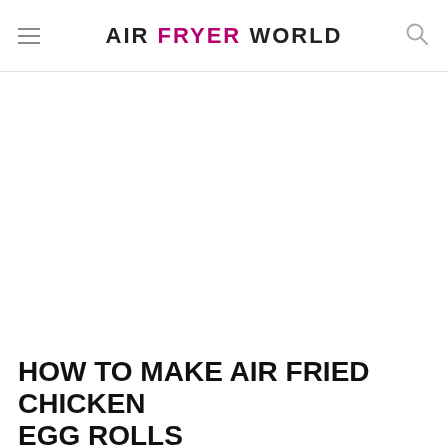AIR FRYER WORLD
HOW TO MAKE AIR FRIED CHICKEN EGG ROLLS
We created a detailed step-by-step photo collage